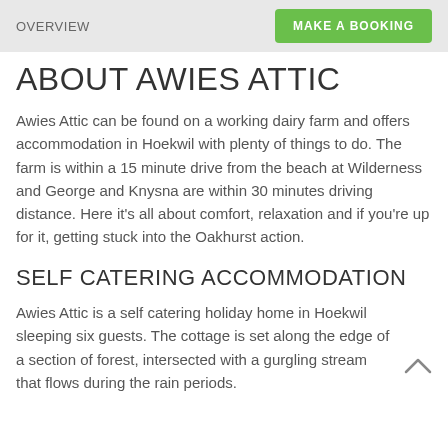OVERVIEW | MAKE A BOOKING
ABOUT AWIES ATTIC
Awies Attic can be found on a working dairy farm and offers accommodation in Hoekwil with plenty of things to do. The farm is within a 15 minute drive from the beach at Wilderness and George and Knysna are within 30 minutes driving distance. Here it’s all about comfort, relaxation and if you’re up for it, getting stuck into the Oakhurst action.
SELF CATERING ACCOMMODATION
Awies Attic is a self catering holiday home in Hoekwil sleeping six guests. The cottage is set along the edge of a section of forest, intersected with a gurgling stream that flows during the rain periods.